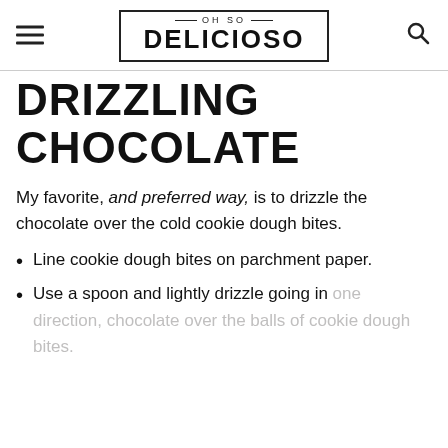OH SO DELICIOSO
DRIZZLING CHOCOLATE
My favorite, and preferred way, is to drizzle the chocolate over the cold cookie dough bites.
Line cookie dough bites on parchment paper.
Use a spoon and lightly drizzle going in one direction, chocolate over the balls of cookie dough bites.